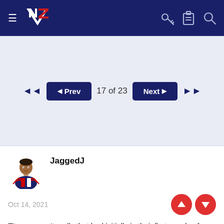NZ Warriors forum navigation bar with hamburger menu, NZ logo, key icon, clipboard icon, search icon
[Figure (screenshot): Pagination controls showing double-left arrow, Prev button, '17 of 23', Next button, double-right arrow on light blue-grey background]
[Figure (illustration): User avatar: cartoon rugby player figure with Warriors jersey]
JaggedJ
Oct 14, 2021
Titans weren't really that bad initially in their first couple of years, but they did fade badly in the back half of those years. They were 4th after 15 rounds in their debut season and then won 8 of their first 12 games in 2008 before fading.